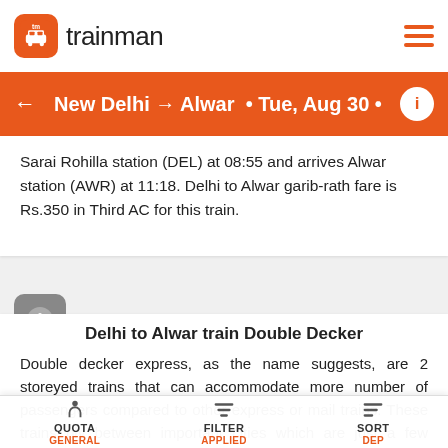trainman
New Delhi → Alwar • Tue, Aug 30 •
Sarai Rohilla station (DEL) at 08:55 and arrives Alwar station (AWR) at 11:18. Delhi to Alwar garib-rath fare is Rs.350 in Third AC for this train.
Delhi to Alwar train Double Decker
Double decker express, as the name suggests, are 2 storeyed trains that can accommodate more number of passengers compared to other express or mail trains. These trains ply between important cities which are just a few hundred kilometres apart. These are fully AC coaches and have only seating facilities with Chair Car (CC) class. There is a ladder to climb up to the upper deck of coach. These trains do not offer catering facilities but trolleys are
QUOTA GENERAL | FILTER APPLIED | SORT DEP